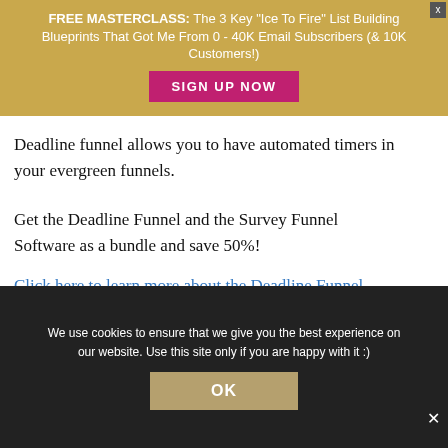FREE MASTERCLASS: The 3 Key "Ice To Fire" List Building Blueprints That Got Me From 0 - 40K Email Subscribers (& 10K Customers!)
SIGN UP NOW
Deadline funnel allows you to have automated timers in your evergreen funnels.
Get the Deadline Funnel and the Survey Funnel Software as a bundle and save 50%!
Click here to learn more about the Deadline Funnel Bundle.
We use cookies to ensure that we give you the best experience on our website. Use this site only if you are happy with it :)
OK